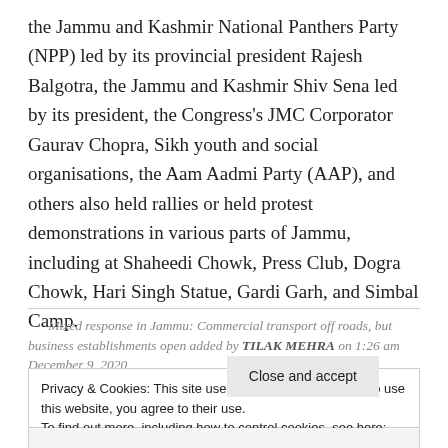the Jammu and Kashmir National Panthers Party (NPP) led by its provincial president Rajesh Balgotra, the Jammu and Kashmir Shiv Sena led by its president, the Congress's JMC Corporator Gaurav Chopra, Sikh youth and social organisations, the Aam Aadmi Party (AAP), and others also held rallies or held protest demonstrations in various parts of Jammu, including at Shaheedi Chowk, Press Club, Dogra Chowk, Hari Singh Statue, Gardi Garh, and Simbal Camp.
Mixed response in Jammu: Commercial transport off roads, but business establishments open added by TILAK MEHRA on 1:26 am December 9, 2020
Privacy & Cookies: This site uses cookies. By continuing to use this website, you agree to their use. To find out more, including how to control cookies, see here: Cookie Policy